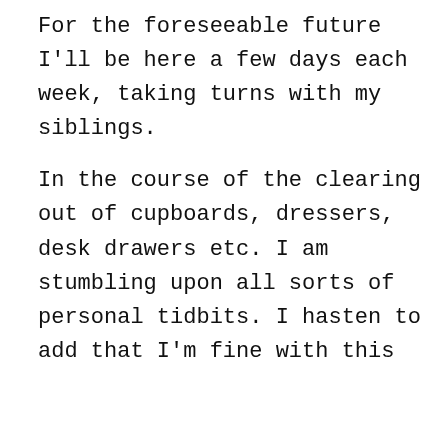For the foreseeable future I'll be here a few days each week, taking turns with my siblings.

In the course of the clearing out of cupboards, dressers, desk drawers etc. I am stumbling upon all sorts of personal tidbits. I hasten to add that I'm fine with this